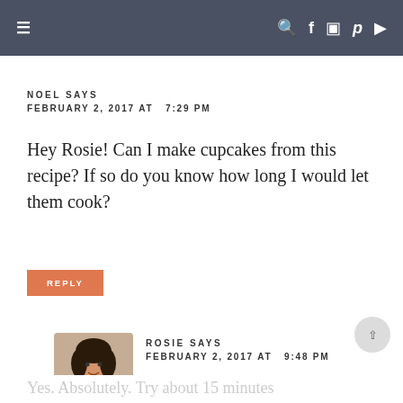≡   🔍 f 📷 𝗽 ▶
NOEL SAYS
FEBRUARY 2, 2017 AT  7:29 PM
Hey Rosie! Can I make cupcakes from this recipe? If so do you know how long I would let them cook?
REPLY
ROSIE SAYS
FEBRUARY 2, 2017 AT  9:48 PM
Yes. Absolutely. Try about 15 minutes